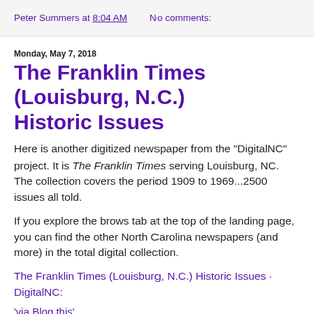Peter Summers at 8:04 AM   No comments:
Monday, May 7, 2018
The Franklin Times (Louisburg, N.C.) Historic Issues
Here is another digitized newspaper from the "DigitalNC" project. It is The Franklin Times serving Louisburg, NC. The collection covers the period 1909 to 1969...2500 issues all told.
If you explore the brows tab at the top of the landing page, you can find the other North Carolina newspapers (and more) in the total digital collection.
The Franklin Times (Louisburg, N.C.) Historic Issues · DigitalNC:
'via Blog this'